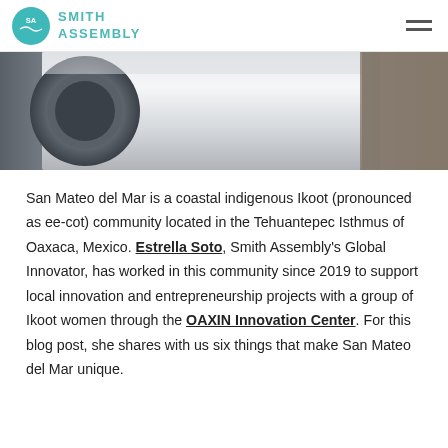SMITH ASSEMBLY
[Figure (photo): Partial view of a cylindrical pipe or tube in an industrial or outdoor setting, with blurred natural or material texture in the background. Grayscale/muted tones.]
San Mateo del Mar is a coastal indigenous Ikoot (pronounced as ee-cot) community located in the Tehuantepec Isthmus of Oaxaca, Mexico. Estrella Soto, Smith Assembly's Global Innovator, has worked in this community since 2019 to support local innovation and entrepreneurship projects with a group of Ikoot women through the OAXIN Innovation Center. For this blog post, she shares with us six things that make San Mateo del Mar unique.